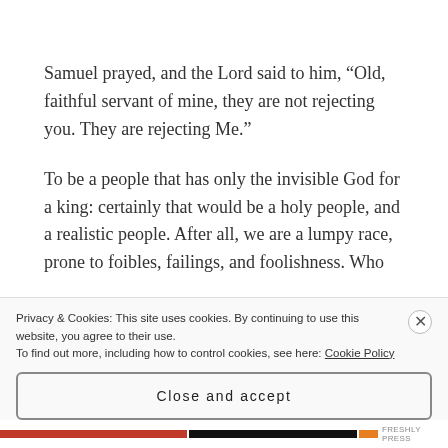Samuel prayed, and the Lord said to him, “Old, faithful servant of mine, they are not rejecting you. They are rejecting Me.”
To be a people that has only the invisible God for a king: certainly that would be a holy people, and a realistic people. After all, we are a lumpy race, prone to foibles, failings, and foolishness. Who
Privacy & Cookies: This site uses cookies. By continuing to use this website, you agree to their use.
To find out more, including how to control cookies, see here: Cookie Policy
Close and accept